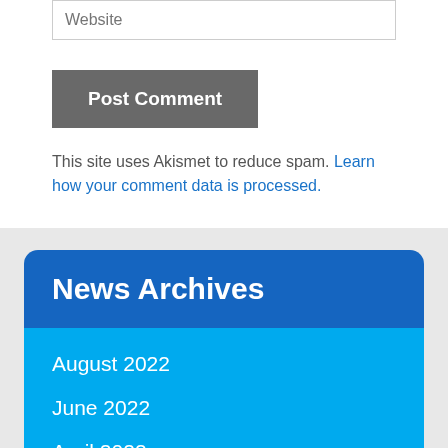Website
Post Comment
This site uses Akismet to reduce spam. Learn how your comment data is processed.
News Archives
August 2022
June 2022
April 2022
December 2021
October 2021